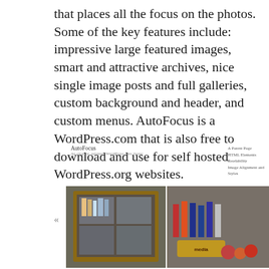that places all the focus on the photos. Some of the key features include: impressive large featured images, smart and attractive archives, nice single image posts and full galleries, custom background and header, and custom menus. AutoFocus is a WordPress.com that is also free to download and use for self hosted WordPress.org websites.
[Figure (screenshot): Screenshot of the AutoFocus WordPress theme showing a site header with title 'AutoFocus', subtitle 'An elegant, minimal WordPress.com theme', navigation links on the right (A Parent Page, HTML Elements, Readability, Image Alignment and Styles), and a photo gallery grid showing shop display cases with colorful items. A left arrow navigation indicator is visible on the left side.]